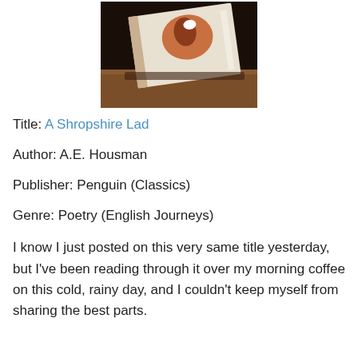[Figure (photo): A photograph of a book (A Shropshire Lad) with a decorative cover showing an illustration, lying on a wooden surface. The book is open slightly and the cover art is visible.]
Title: A Shropshire Lad
Author: A.E. Housman
Publisher: Penguin (Classics)
Genre: Poetry (English Journeys)
I know I just posted on this very same title yesterday, but I've been reading through it over my morning coffee on this cold, rainy day, and I couldn't keep myself from sharing the best parts.